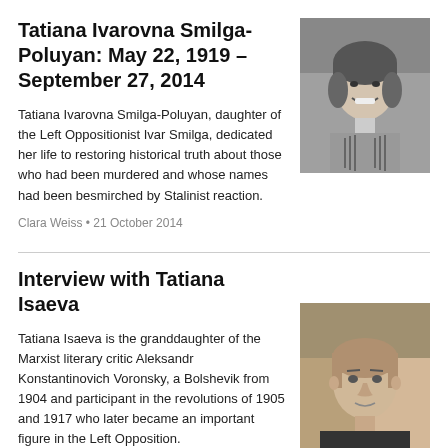Tatiana Ivarovna Smilga-Poluyan: May 22, 1919 – September 27, 2014
[Figure (photo): Black and white photo of Tatiana Ivarovna Smilga-Poluyan, a young woman smiling wearing a headscarf and gloves]
Tatiana Ivarovna Smilga-Poluyan, daughter of the Left Oppositionist Ivar Smilga, dedicated her life to restoring historical truth about those who had been murdered and whose names had been besmirched by Stalinist reaction.
Clara Weiss • 21 October 2014
Interview with Tatiana Isaeva
[Figure (photo): Color photo of Tatiana Isaeva, a middle-aged woman with short hair]
Tatiana Isaeva is the granddaughter of the Marxist literary critic Aleksandr Konstantinovich Voronsky, a Bolshevik from 1904 and participant in the revolutions of 1905 and 1917 who later became an important figure in the Left Opposition.